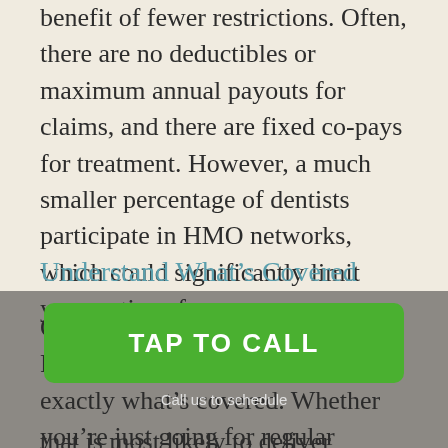benefit of fewer restrictions. Often, there are no deductibles or maximum annual payouts for claims, and there are fixed co-pays for treatment. However, a much smaller percentage of dentists participate in HMO networks, which could significantly limit your options for care.
Understand What's Covered
Once you've selected an HMO or PPO plan, you need to know exactly what's covered. Whether you're just going for regular cleaning, checkup, and x-rays or you're dealing with fillings, crowns, or dental implants, you need to know what's covered in that plan that is most likely to deliver suitable and affordable care.
[Figure (other): Green call-to-action button overlay with text 'TAP TO CALL' and subtitle 'Call us to schedule']